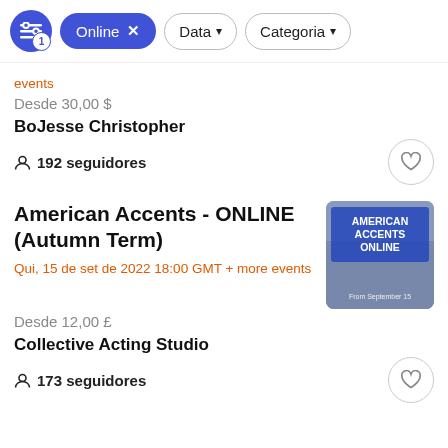Online × | Data ∨ | Categoria ∨
events
Desde 30,00 $
BoJesse Christopher
192 seguidores
American Accents - ONLINE (Autumn Term)
Qui, 15 de set de 2022 18:00 GMT + more events
Desde 12,00 £
Collective Acting Studio
173 seguidores
[Figure (photo): Promotional image for American Accents Online course showing three people with blue text overlay reading AMERICAN ACCENTS ONLINE, From September 15]